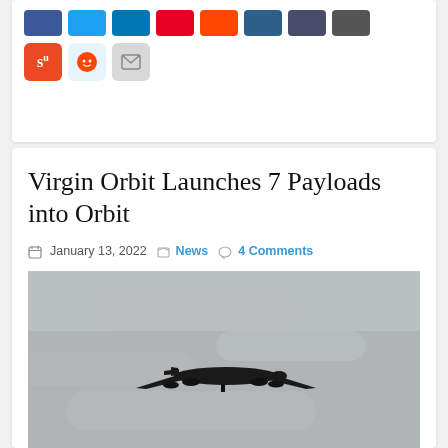[Figure (other): Social media sharing buttons row 1: Facebook, Twitter, LinkedIn, Pinterest, Reddit-orange, dark-blue, dark, dark-gray]
[Figure (other): Social media sharing buttons row 2: StumbleUpon (orange), Reddit (light blue alien), Email (gray envelope)]
Virgin Orbit Launches 7 Payloads into Orbit
January 13, 2022 | News | 4 Comments
[Figure (photo): Black and white photo of a large airplane (Boeing 747 carrier aircraft) silhouetted against a gray cloudy sky, viewed from below]